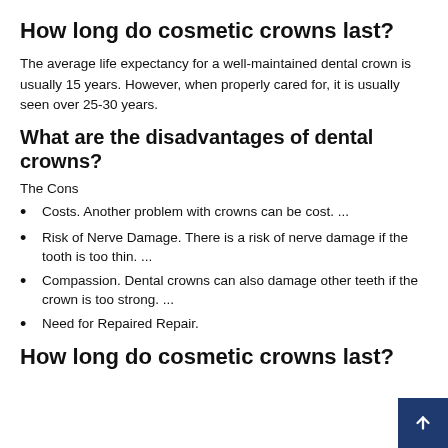How long do cosmetic crowns last?
The average life expectancy for a well-maintained dental crown is usually 15 years. However, when properly cared for, it is usually seen over 25-30 years.
What are the disadvantages of dental crowns?
The Cons
Costs. Another problem with crowns can be cost. ...
Risk of Nerve Damage. There is a risk of nerve damage if the tooth is too thin. ...
Compassion. Dental crowns can also damage other teeth if the crown is too strong. ...
Need for Repaired Repair.
How long do cosmetic crowns last?